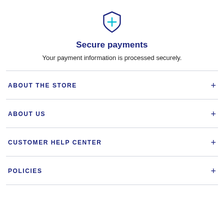[Figure (illustration): Blue shield icon with a cross/plus symbol in the center, outlined style with teal accent on the cross]
Secure payments
Your payment information is processed securely.
ABOUT THE STORE
ABOUT US
CUSTOMER HELP CENTER
POLICIES